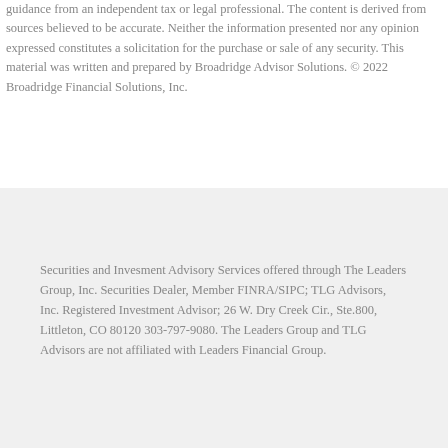guidance from an independent tax or legal professional. The content is derived from sources believed to be accurate. Neither the information presented nor any opinion expressed constitutes a solicitation for the purchase or sale of any security. This material was written and prepared by Broadridge Advisor Solutions. © 2022 Broadridge Financial Solutions, Inc.
Securities and Invesment Advisory Services offered through The Leaders Group, Inc. Securities Dealer, Member FINRA/SIPC; TLG Advisors, Inc. Registered Investment Advisor; 26 W. Dry Creek Cir., Ste.800, Littleton, CO 80120 303-797-9080. The Leaders Group and TLG Advisors are not affiliated with Leaders Financial Group.